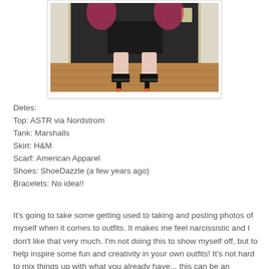[Figure (photo): Photo of person's legs and feet wearing black heeled sandals with ankle cuffs, standing on a wooden floor in front of a dark background. Person appears to be wearing a dark skirt and has pink/red hair visible at the edges.]
Detes:
Top:  ASTR via Nordstrom
Tank: Marshalls
Skirt: H&M
Scarf: American Apparel
Shoes: ShoeDazzle (a few years ago)
Bracelets: No idea!!
It's going to take some getting used to taking and posting photos of myself when it comes to outfits.  It makes me feel narcissistic and I don't like that very much.  I'm not doing this to show myself off, but to help inspire some fun and creativity in your own outfits!  It's not hard to mix things up with what you already have... this can be an adventure we have